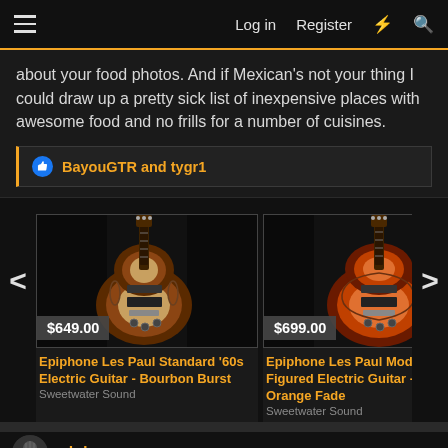Log in  Register  ⚡  🔍
about your food photos. And if Mexican's not your thing I could draw up a pretty sick list of inexpensive places with awesome food and no frills for a number of cuisines.
👍 BayouGTR and tygr1
[Figure (photo): Product card: Epiphone Les Paul Standard '60s Electric Guitar - Bourbon Burst, priced at $649.00, sold by Sweetwater Sound]
Epiphone Les Paul Standard '60s Electric Guitar - Bourbon Burst
Sweetwater Sound
[Figure (photo): Product card: Epiphone Les Paul Modern Figured Electric Guitar - Magma Orange Fade, priced at $699.00, sold by Sweetwater Sound]
Epiphone Les Paul Modern Figured Electric Guitar - Magma Orange Fade
Sweetwater Sound
nkd